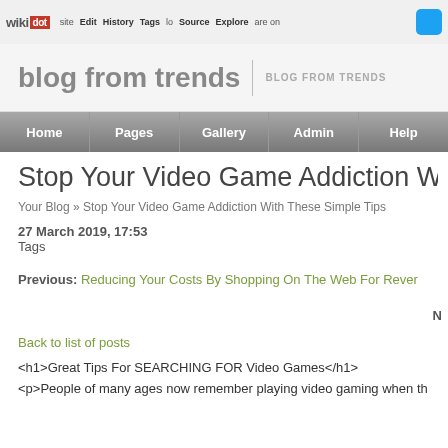wikidot | site Edit History Tags Source Explore Share on [twitter]
blog from trends | BLOG FROM TRENDS
Home | Pages | Gallery | Admin | Help
Stop Your Video Game Addiction With Th
Your Blog » Stop Your Video Game Addiction With These Simple Tips
27 March 2019, 17:53
Tags
Previous: Reducing Your Costs By Shopping On The Web For Rever
Back to list of posts
<h1>Great Tips For SEARCHING FOR Video Games</h1>
<p>People of many ages now remember playing video gaming when th